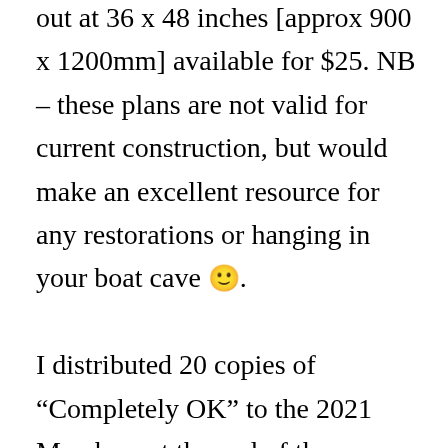out at 36 x 48 inches [approx 900 x 1200mm] available for $25. NB – these plans are not valid for current construction, but would make an excellent resource for any restorations or hanging in your boat cave 🙂.

I distributed 20 copies of “Completely OK” to the 2021 Members at the end of the year.  COVID hasn't diminished the popularity of the OK Dinghy and in some respects is driving the Class growth internationally.  The